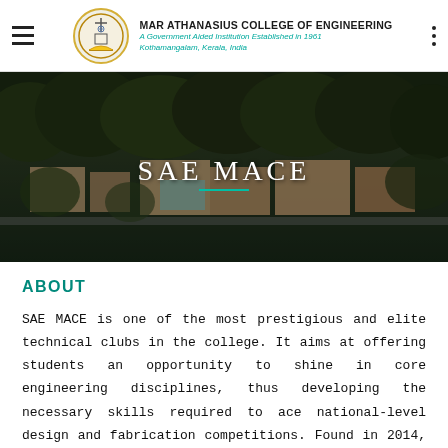MAR ATHANASIUS COLLEGE OF ENGINEERING
A Government Aided Institution Established in 1961
Kothamangalam, Kerala, India
[Figure (photo): Aerial drone photograph of Mar Athanasius College of Engineering campus, showing college buildings surrounded by lush green trees and vegetation. The image is used as a hero banner background.]
SAE MACE
ABOUT
SAE MACE is one of the most prestigious and elite technical clubs in the college. It aims at offering students an opportunity to shine in core engineering disciplines, thus developing the necessary skills required to ace national-level design and fabrication competitions. Found in 2014, the club